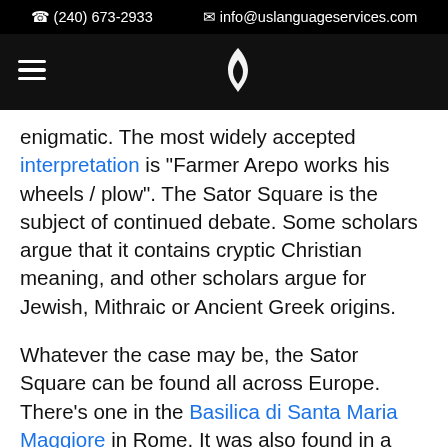(240) 673-2933   info@uslanguageservices.com
enigmatic. The most widely accepted interpretation is “Farmer Arepo works his wheels / plow”. The Sator Square is the subject of continued debate. Some scholars argue that it contains cryptic Christian meaning, and other scholars argue for Jewish, Mithraic or Ancient Greek origins.
Whatever the case may be, the Sator Square can be found all across Europe. There’s one in the Basilica di Santa Maria Maggiore in Rome. It was also found in a painted section of wall plaster from an ancient Roman home in Cirencester, England. In fact, it is scattered among Roman ruins in France